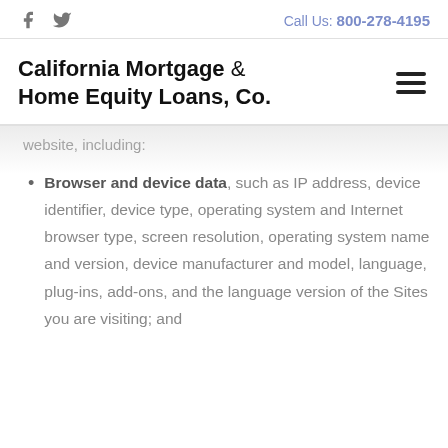f  [twitter icon]   Call Us: 800-278-4195
California Mortgage & Home Equity Loans, Co.
website, including:
Browser and device data, such as IP address, device identifier, device type, operating system and Internet browser type, screen resolution, operating system name and version, device manufacturer and model, language, plug-ins, add-ons, and the language version of the Sites you are visiting; and